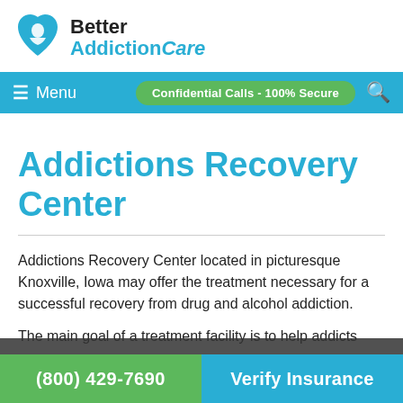[Figure (logo): Better Addiction Care logo with blue heart icon and text]
Menu | Confidential Calls - 100% Secure
Addictions Recovery Center
Addictions Recovery Center located in picturesque Knoxville, Iowa may offer the treatment necessary for a successful recovery from drug and alcohol addiction.
The main goal of a treatment facility is to help addicts
(800) 429-7690 | Verify Insurance